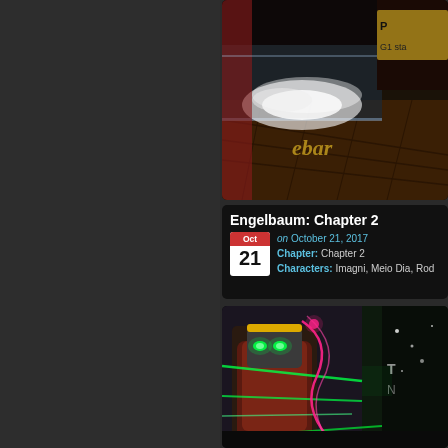[Figure (illustration): Top comic panel showing an interior scene with warm golden/orange tones, light effects, and partial text 'G1 sta' visible on a sign in upper right corner. Dark atmospheric comic art style.]
Engelbaum: Chapter 2
on October 21, 2017
Chapter: Chapter 2
Characters: Imagni, Meio Dia, Rod
[Figure (illustration): Bottom comic panel showing an action scene with a character in dark/gray tones with green glowing eyes, pink/magenta energy lines, green laser beams, and partial text visible on the right side. Dynamic action comic art style.]